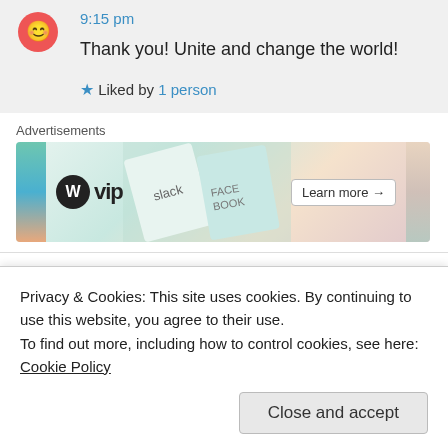9:15 pm
Thank you! Unite and change the world!
★ Liked by 1 person
Advertisements
[Figure (screenshot): WordPress VIP advertisement banner with Slack and Facebook logos and 'Learn more →' button]
victoria on April 11, 2012 at 8:00 pm
Privacy & Cookies: This site uses cookies. By continuing to use this website, you agree to their use.
To find out more, including how to control cookies, see here: Cookie Policy
Close and accept
to gift to my daughter her magnificent self and to